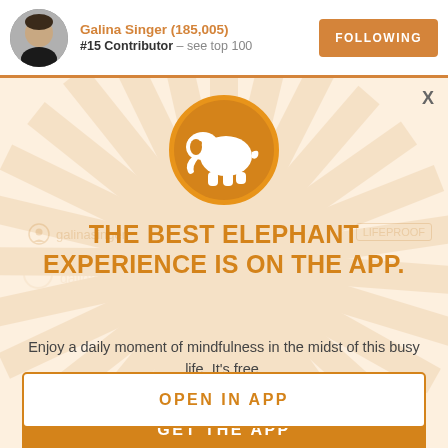Galina Singer (185,005) #15 Contributor – see top 100 | FOLLOWING
[Figure (illustration): Orange circle with white elephant silhouette icon]
THE BEST ELEPHANT EXPERIENCE IS ON THE APP.
Enjoy a daily moment of mindfulness in the midst of this busy life. It's free.
GET THE APP
OPEN IN APP